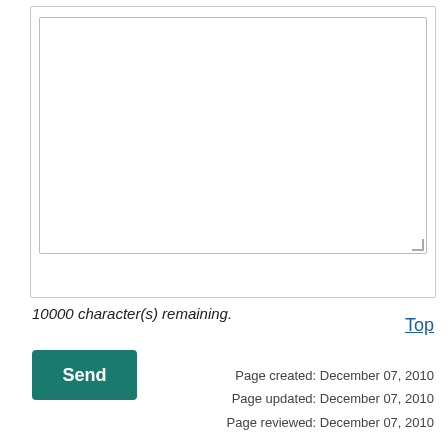[Figure (screenshot): A web form textarea input box, empty, with a resize handle in the bottom-right corner, enclosed in a bordered container.]
10000 character(s) remaining.
Send
Top
Page created: December 07, 2010
Page updated: December 07, 2010
Page reviewed: December 07, 2010